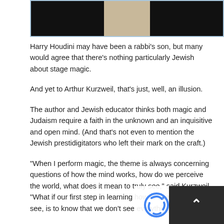[Figure (photo): Partial photograph strip showing people in dark clothing with a light background in the center, framed with a light blue border.]
Harry Houdini may have been a rabbi’s son, but many would agree that there’s nothing particularly Jewish about stage magic.
And yet to Arthur Kurzweil, that’s just, well, an illusion.
The author and Jewish educator thinks both magic and Judaism require a faith in the unknown and an inquisitive and open mind. (And that’s not even to mention the Jewish prestidigitators who left their mark on the craft.)
“When I perform magic, the theme is always concerning questions of how the mind works, how do we perceive the world, what does it mean to truly see,” said Kurzweil. “What if our first step in learning how to see, to really see, is to know that we don’t see everything?”
Kurzweil demonstrated his innovative exploration of